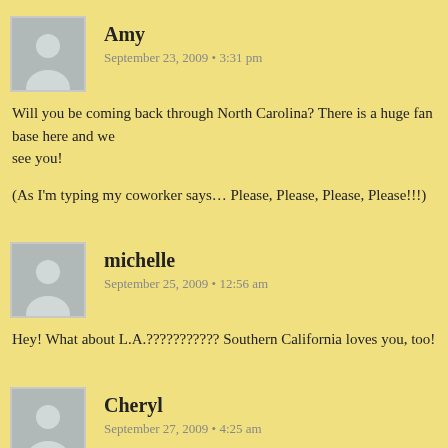Amy
September 23, 2009 • 3:31 pm
Will you be coming back through North Carolina? There is a huge fan base here and we see you!
(As I'm typing my coworker says… Please, Please, Please, Please!!!)
michelle
September 25, 2009 • 12:56 am
Hey! What about L.A.??????????? Southern California loves you, too!
Cheryl
September 27, 2009 • 4:25 am